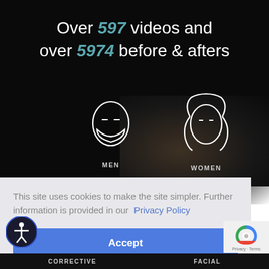Over 597 videos and over 5974 before & afters
[Figure (illustration): Line-art icon of a male face (front view, no hair) labeled MEN]
[Figure (illustration): Line-art icon of a female face/head with flowing hair labeled WOMEN]
This site uses cookies to make the site simpler. Further information is provided in our Privacy Policy
Accept
[Figure (logo): reCAPTCHA logo with 'Privacy - Terms' text]
CORRECTIVE
FACIAL